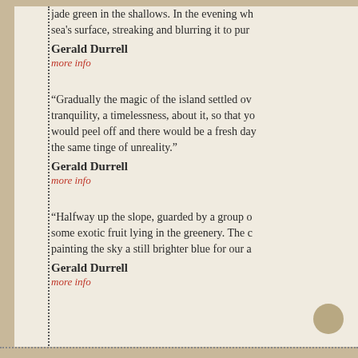jade green in the shallows. In the evening wh... sea's surface, streaking and blurring it to pur...
Gerald Durrell
more info
“Gradually the magic of the island settled ove... tranquility, a timelessness, about it, so that yo... would peel off and there would be a fresh day... the same tinge of unreality.”
Gerald Durrell
more info
“Halfway up the slope, guarded by a group o... some exotic fruit lying in the greenery. The c... painting the sky a still brighter blue for our a...
Gerald Durrell
more info